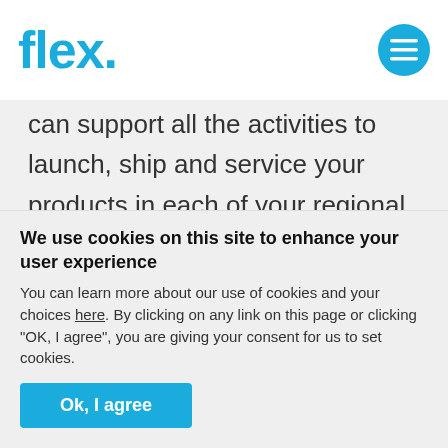flex.
can support all the activities to launch, ship and service your products in each of your regional markets. As these capabilities are outsourced, global brands are reaping benefits from working with partners having the kind of global footprint that can create as many
We use cookies on this site to enhance your user experience
You can learn more about our use of cookies and your choices here. By clicking on any link on this page or clicking "OK, I agree", you are giving your consent for us to set cookies.
Ok, I agree